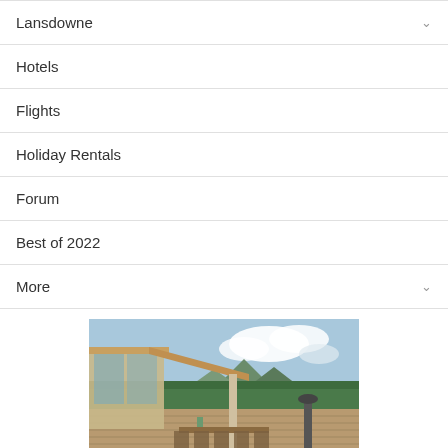Lansdowne
Hotels
Flights
Holiday Rentals
Forum
Best of 2022
More
[Figure (photo): Outdoor deck of a modern home with dining furniture, large glass walls, surrounded by green trees and hills under a partly cloudy sky. Below the photo is a dark green banner with white bold text reading 'Rent a home for']